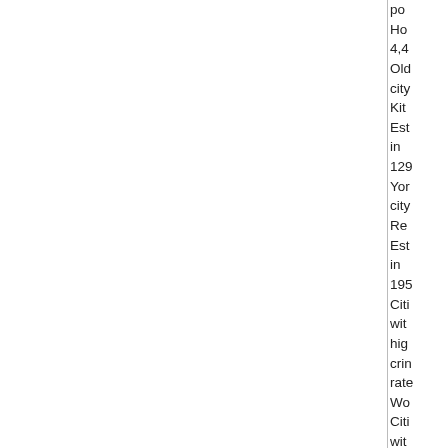population Housing 4,4 Older city Kitchener Established in 129 York city Reno Established in 195 Cities with highest crime rates Worst Cities with lowest crime